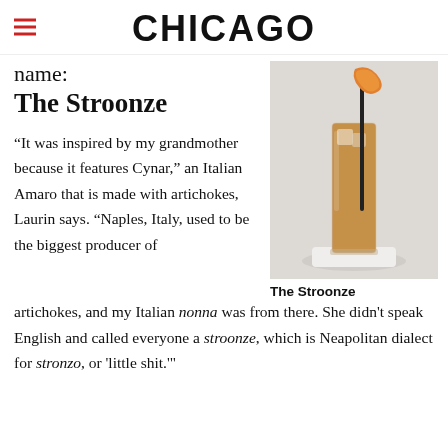CHICAGO
name:
The Stroonze
[Figure (photo): A tall glass cocktail called The Stroonze, amber/brown colored drink with ice and an orange peel garnish and a black straw, served on a white square coaster against a light grey background.]
The Stroonze
“It was inspired by my grandmother because it features Cynar,” an Italian Amaro that is made with artichokes, Laurin says. “Naples, Italy, used to be the biggest producer of artichokes, and my Italian nonna was from there. She didn’t speak English and called everyone a stroonze, which is Neapolitan dialect for stronzo, or ‘little shit.’”